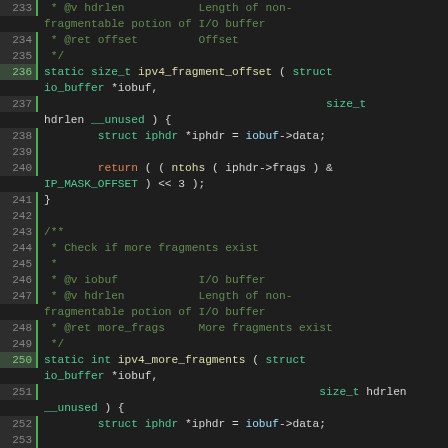[Figure (screenshot): Source code listing (C) showing IPv4 fragment offset and more_fragments functions with line numbers 233-258, syntax highlighted in dark theme editor]